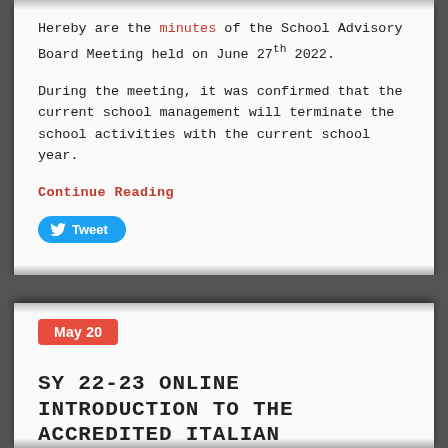Hereby are the minutes of the School Advisory Board Meeting held on June 27th 2022.
During the meeting, it was confirmed that the current school management will terminate the school activities with the current school year.
Continue Reading
[Figure (other): Tweet button with Twitter bird icon]
May 20
SY 22-23 ONLINE INTRODUCTION TO THE ACCREDITED ITALIAN KINDERGARTEN IN BEIJING